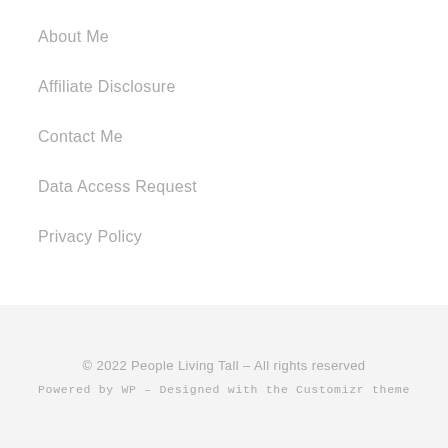About Me
Affiliate Disclosure
Contact Me
Data Access Request
Privacy Policy
© 2022 People Living Tall – All rights reserved
Powered by WP – Designed with the Customizr theme